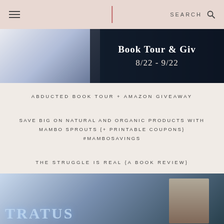SEARCH
[Figure (photo): Book Tour & Giveaway banner image with text 'Book Tour & Giv... 8/22 - 9/22' overlaid on a dark background with a figure on the left]
ABDUCTED BOOK TOUR + AMAZON GIVEAWAY
SAVE BIG ON NATURAL AND ORGANIC PRODUCTS WITH MAMBO SPROUTS {+ PRINTABLE COUPONS} #MAMBOSAVINGS
THE STRUGGLE IS REAL {A BOOK REVIEW}
[Figure (photo): Book cover image showing 'STRATUS' text and a person's face on a blue/grey background]